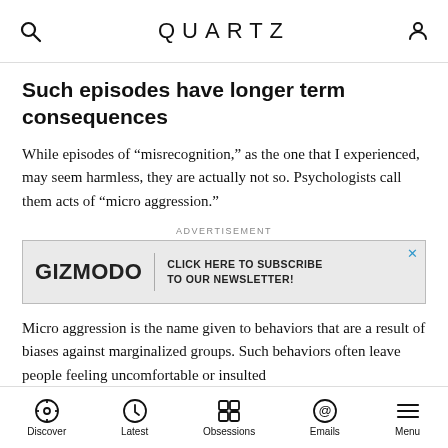QUARTZ
Such episodes have longer term consequences
While episodes of “misrecognition,” as the one that I experienced, may seem harmless, they are actually not so. Psychologists call them acts of “micro aggression.”
[Figure (other): Advertisement banner for Gizmodo: 'GIZMODO | CLICK HERE TO SUBSCRIBE TO OUR NEWSLETTER!']
Micro aggression is the name given to behaviors that are a result of biases against marginalized groups. Such behaviors often leave people feeling uncomfortable or insulted
Discover | Latest | Obsessions | Emails | Menu